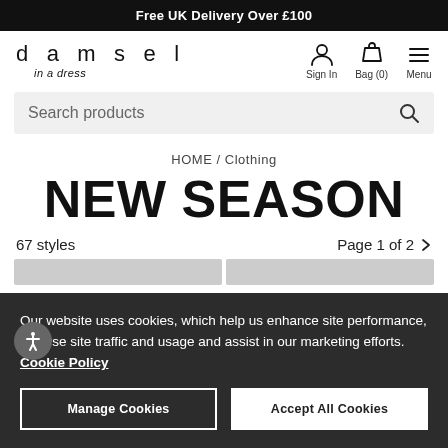Free UK Delivery Over £100
[Figure (logo): Damsel in a dress brand logo with spaced letters and italic subtitle]
Sign In  Bag (0)  Menu
Search products
HOME / Clothing
NEW SEASON
67 styles
Page 1 of 2 >
Our website uses cookies, which help us enhance site performance, analyse site traffic and usage and assist in our marketing efforts. Cookie Policy
Manage Cookies
Accept All Cookies